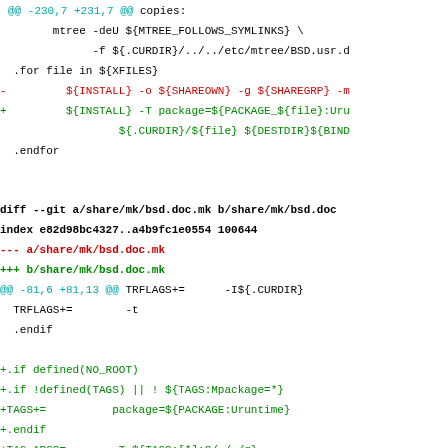Git diff output showing changes to share/mk/bsd.usr.mk and share/mk/bsd.doc.mk